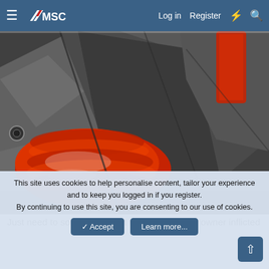MSC — Log in  Register
[Figure (photo): Close-up underside of a car showing a bright red silicone intake/exhaust hose surrounded by dark grey sheet metal panels and car undercarriage components.]
Just need to sort the exhaust that the previous owner inflicted
This site uses cookies to help personalise content, tailor your experience and to keep you logged in if you register.
By continuing to use this site, you are consenting to our use of cookies.
✓ Accept   Learn more...